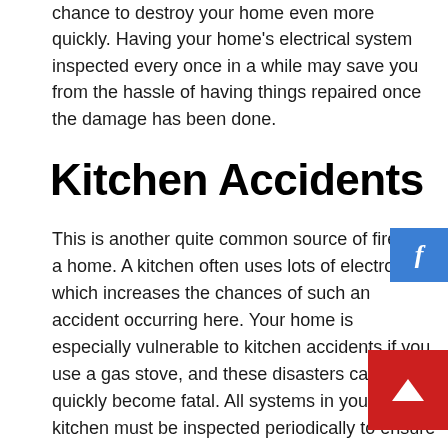chance to destroy your home even more quickly. Having your home's electrical system inspected every once in a while may save you from the hassle of having things repaired once the damage has been done.
Kitchen Accidents
This is another quite common source of fires in a home. A kitchen often uses lots of electronics, which increases the chances of such an accident occurring here. Your home is especially vulnerable to kitchen accidents if you use a gas stove, and these disasters can quickly become fatal. All systems in your kitchen must be inspected periodically to ensure your home's safety.